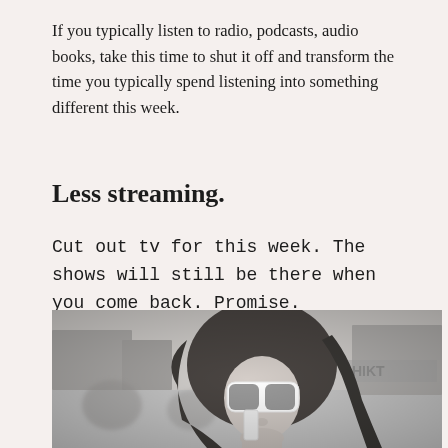If you typically listen to radio, podcasts, audio books, take this time to shut it off and transform the time you typically spend listening into something different this week.
Less streaming.
Cut out tv for this week. The shows will still be there when you come back. Promise.
[Figure (photo): Black and white photograph of a woman with long hair wearing large white-framed sunglasses, holding what appears to a small white object near her face, with a blurred urban background.]